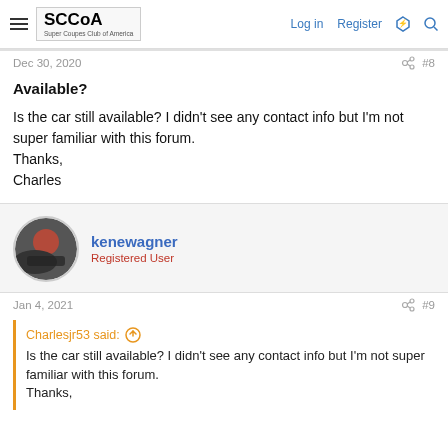SCCoA Super Coupes Club of America | Log in | Register
Dec 30, 2020 | #8
Available?
Is the car still available? I didn't see any contact info but I'm not super familiar with this forum.
Thanks,
Charles
kenewagner
Registered User
Jan 4, 2021 | #9
Charlesjr53 said:
Is the car still available? I didn't see any contact info but I'm not super familiar with this forum.
Thanks,